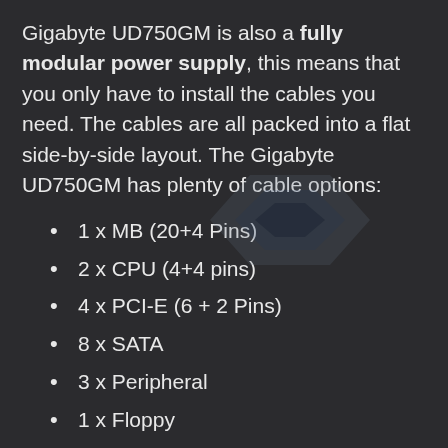Gigabyte UD750GM is also a fully modular power supply, this means that you only have to install the cables you need. The cables are all packed into a flat side-by-side layout. The Gigabyte UD750GM has plenty of cable options:
1 x MB (20+4 Pins)
2 x CPU (4+4 pins)
4 x PCI-E (6 + 2 Pins)
8 x SATA
3 x Peripheral
1 x Floppy
The Gigabyte UD750GM also features a single 12V+ Rail. This means that the 12V line is not